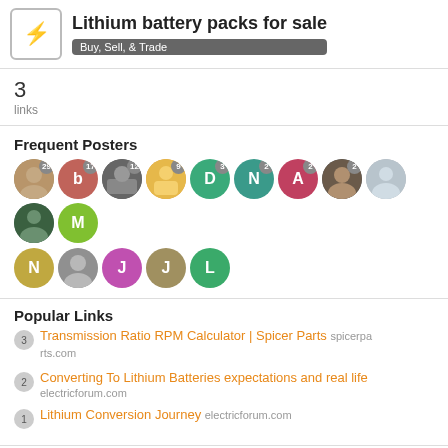Lithium battery packs for sale — Buy, Sell, & Trade
3
links
Frequent Posters
[Figure (other): Avatar icons for frequent posters with post counts: 29, 17, 12, 9, D(3), N(2), A(2), 2, plus more without counts: N, photo, J, J, L]
Popular Links
3 — Transmission Ratio RPM Calculator | Spicer Parts spicerparts.com
2 — Converting To Lithium Batteries expectations and real life electricforum.com
1 — Lithium Conversion Journey electricforum.com
There are 84 replies with an estimated reading time of 3 minutes.
1 / 85